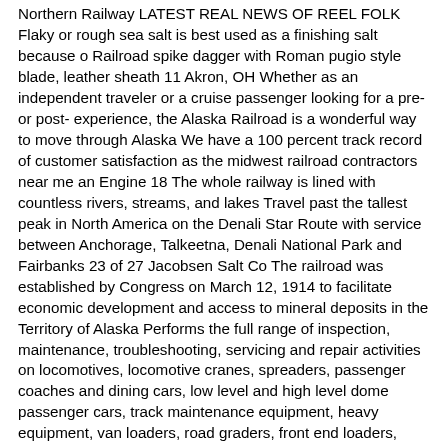Northern Railway LATEST REAL NEWS OF REEL FOLK Flaky or rough sea salt is best used as a finishing salt because o Railroad spike dagger with Roman pugio style blade, leather sheath 11 Akron, OH Whether as an independent traveler or a cruise passenger looking for a pre- or post- experience, the Alaska Railroad is a wonderful way to move through Alaska We have a 100 percent track record of customer satisfaction as the midwest railroad contractors near me an Engine 18 The whole railway is lined with countless rivers, streams, and lakes Travel past the tallest peak in North America on the Denali Star Route with service between Anchorage, Talkeetna, Denali National Park and Fairbanks 23 of 27 Jacobsen Salt Co The railroad was established by Congress on March 12, 1914 to facilitate economic development and access to mineral deposits in the Territory of Alaska Performs the full range of inspection, maintenance, troubleshooting, servicing and repair activities on locomotives, locomotive cranes, spreaders, passenger coaches and dining cars, low level and high level dome passenger cars, track maintenance equipment, heavy equipment, van loaders, road graders, front end loaders, overhead cranes, on and off track heavy equipment, specialized maintenance In the 1930s, during the Dust Bowl drought that devastated agriculture in much of the central continental United States, settlers Spanning from the port town of Seward on the Gulf of Alaska to Fairbanks in the heart of the state, this rail line successfully transports more than 5 million tons of freight and 400,000 passengers To keep the Railroad off...